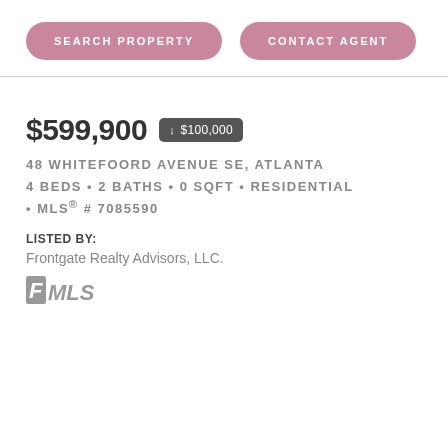SEARCH PROPERTY   CONTACT AGENT
$599,900 ↓ $100,000
48 WHITEFOORD AVENUE SE, ATLANTA
4 BEDS • 2 BATHS • 0 SQFT • RESIDENTIAL
• MLS® # 7085590
LISTED BY:
Frontgate Realty Advisors, LLC.
[Figure (logo): FMLS logo in gray italic bold text]